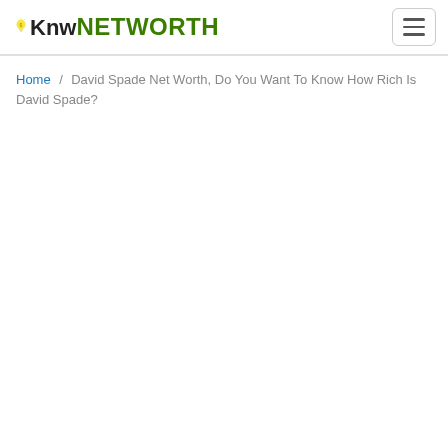KnowNETWORTH (logo with hamburger menu)
Home / David Spade Net Worth, Do You Want To Know How Rich Is David Spade?